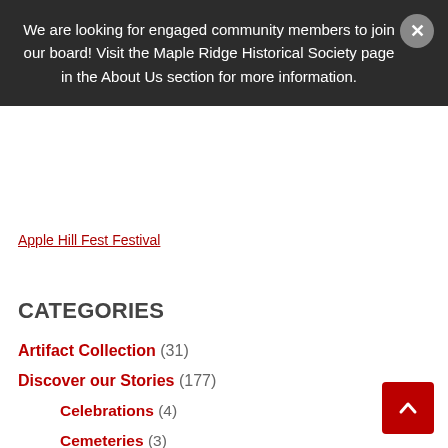We are looking for engaged community members to join our board! Visit the Maple Ridge Historical Society page in the About Us section for more information.
Apple Hill Fest Festival
CATEGORIES
Artifact Collection (31)
Discover our Stories (177)
Celebrations (4)
Cemeteries (3)
Environment & Natural History (5)
Favourite places (7)
First Nations (4)